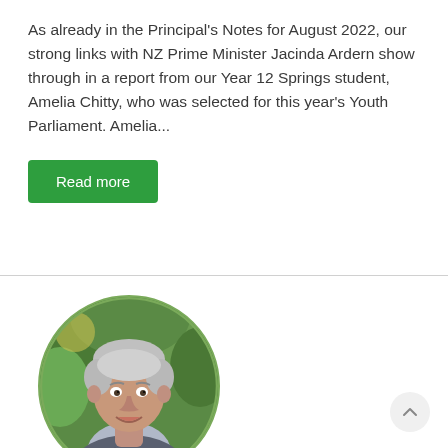As already in the Principal's Notes for August 2022, our strong links with NZ Prime Minister Jacinda Ardern show through in a report from our Year 12 Springs student, Amelia Chitty, who was selected for this year's Youth Parliament. Amelia...
Read more
[Figure (photo): Circular portrait photo of a smiling older man with grey hair, wearing a dark patterned shirt, with green foliage in the background. The photo is framed in a circle with an olive/green border.]